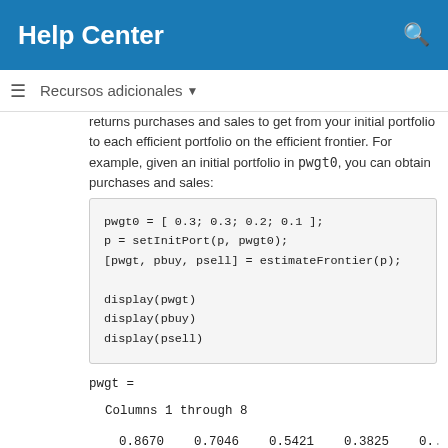Help Center
Recursos adicionales
returns purchases and sales to get from your initial portfolio to each efficient portfolio on the efficient frontier. For example, given an initial portfolio in pwgt0, you can obtain purchases and sales:
pwgt0 = [ 0.3; 0.3; 0.2; 0.1 ];
p = setInitPort(p, pwgt0);
[pwgt, pbuy, psell] = estimateFrontier(p);

display(pwgt)
display(pbuy)
display(psell)
pwgt =

   Columns 1 through 8

      0.8670    0.7046    0.5421    0.3825    0..
      0.0413    0.1193    0.1963    0.2667    0..
      0.0488    0.0640    0.0811    0.1012    0..